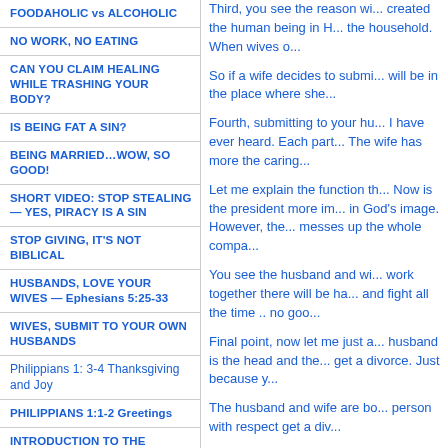FOODAHOLIC vs ALCOHOLIC
NO WORK, NO EATING
CAN YOU CLAIM HEALING WHILE TRASHING YOUR BODY?
IS BEING FAT A SIN?
BEING MARRIED…WOW, SO GOOD!
SHORT VIDEO: STOP STEALING — YES, PIRACY IS A SIN
STOP GIVING, IT'S NOT BIBLICAL
HUSBANDS, LOVE YOUR WIVES — Ephesians 5:25-33
WIVES, SUBMIT TO YOUR OWN HUSBANDS
Philippians 1: 3-4 Thanksgiving and Joy
PHILIPPIANS 1:1-2 Greetings
INTRODUCTION TO THE
Third, you see the reason wi... created the human being in H... the household. When wives o...
So if a wife decides to submi... will be in the place where she...
Fourth, submitting to your hu... I have ever heard. Each part... The wife has more the caring...
Let me explain the function th... Now is the president more im... in God's image. However, the... messes up the whole compa...
You see the husband and wi... work together there will be ha... and fight all the time .. no goo...
Final point, now let me just a... husband is the head and the... get a divorce. Just because y...
The husband and wife are bo... person with respect get a div...